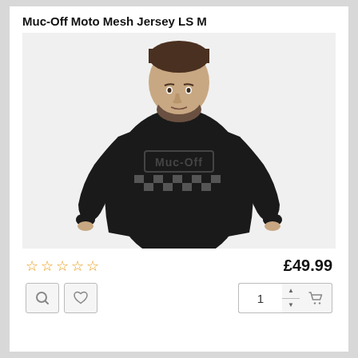Muc-Off Moto Mesh Jersey LS M
[Figure (photo): Man wearing a black long-sleeve Muc-Off branded jersey with checkered pattern on the front, standing against a white background.]
☆☆☆☆☆   £49.99
Controls: search icon, heart/wishlist icon, quantity selector (1), cart button